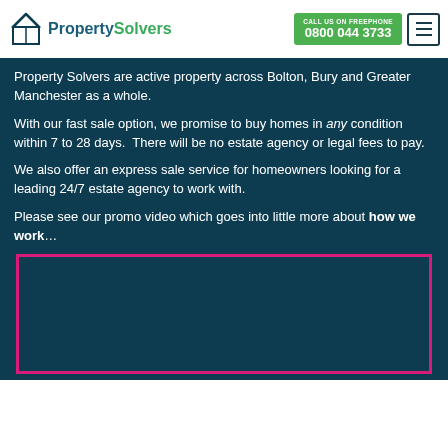PropertySolvers — CALL US on FREEPHONE 0800 044 3733
Property Solvers are active property across Bolton, Bury and Greater Manchester as a whole.
With our fast sale option, we promise to buy homes in any condition within 7 to 28 days. There will be no estate agency or legal fees to pay.
We also offer an express sale service for homeowners looking for a leading 24/7 estate agency to work with.
Please see our promo video which goes into little more about how we work…
[Figure (screenshot): Embedded video player with dark teal background and pink/magenta border]